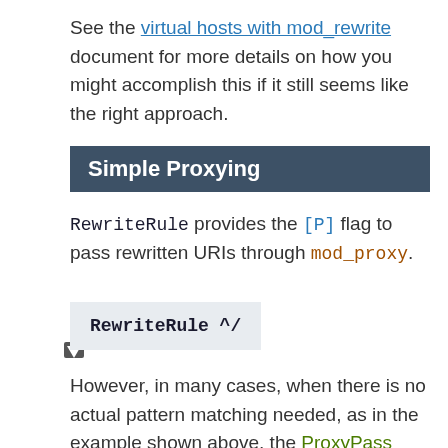See the virtual hosts with mod_rewrite document for more details on how you might accomplish this if it still seems like the right approach.
Simple Proxying
RewriteRule provides the [P] flag to pass rewritten URIs through mod_proxy.
RewriteRule ^/
However, in many cases, when there is no actual pattern matching needed, as in the example shown above, the ProxyPass directive is a better choice. The example here could be rendered as: